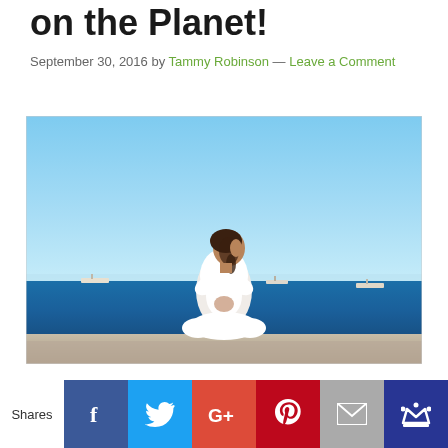on the Planet!
September 30, 2016 by Tammy Robinson — Leave a Comment
[Figure (photo): Woman in white clothes sitting in yoga pose on rocky surface with blue ocean and clear sky in background, ships visible on horizon]
Shares